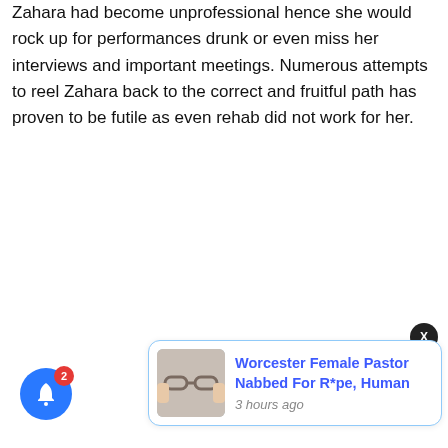Zahara had become unprofessional hence she would rock up for performances drunk or even miss her interviews and important meetings. Numerous attempts to reel Zahara back to the correct and fruitful path has proven to be futile as even rehab did not work for her.
[Figure (screenshot): Push notification card with blue border showing a thumbnail image of handcuffed wrists, a headline 'Worcester Female Pastor Nabbed For R*pe, Human' in blue bold text, and timestamp '3 hours ago' in gray italic. A black circular close button with 'X' appears top-right. A blue circular bell notification icon with red badge showing '2' appears bottom-left.]